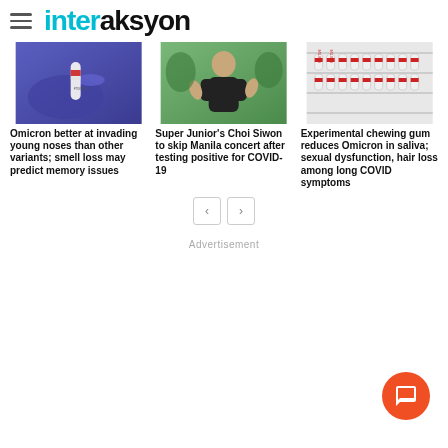interaksyon
[Figure (photo): Gloved hand holding a COVID-19 test tube labeled POSITIVE]
Omicron better at invading young noses than other variants; smell loss may predict memory issues
[Figure (photo): Man in black shirt smiling outdoors]
Super Junior's Choi Siwon to skip Manila concert after testing positive for COVID-19
[Figure (photo): Rows of COVID-19 test vials labeled POSITIVE on shelves]
Experimental chewing gum reduces Omicron in saliva; sexual dysfunction, hair loss among long COVID symptoms
Advertisement